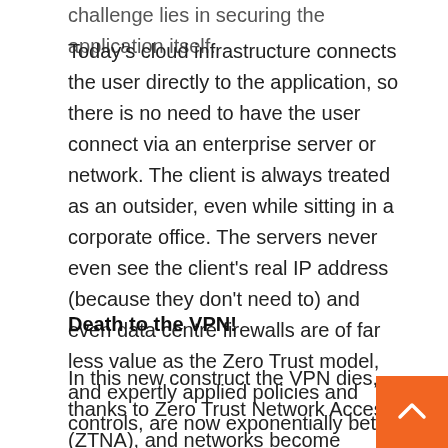challenge lies in securing the application itself.
Today's cloud infrastructure connects the user directly to the application, so there is no need to have the user connect via an enterprise server or network. The client is always treated as an outsider, even while sitting in a corporate office. The servers never even see the client's real IP address (because they don't need to) and even data centre firewalls are of far less value as the Zero Trust model, and expertly applied policies and controls, are now exponentially better.
Death to the VPN!
In this new construct the VPN dies, thanks to Zero Trust Network Access (ZTNA), and networks become simplified with lower operational running costs, thanks